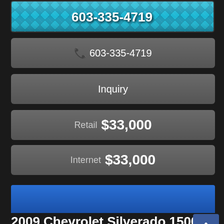[Figure (other): Teal diamond plate texture banner with phone number 603-335-4719 in white bold text]
📞 603-335-4719
Inquiry
Retail  $33,000
Internet  $33,000
[Figure (other): Blue horizontal bar (navigation/header bar)]
2009 Chevrolet Silverado 1500 4WD Crew Cab 143.5" LT
[Figure (other): Dark blue scroll-to-top button with upward chevron arrow]
[Figure (other): Accessibility/wheelchair icon in blue circle]